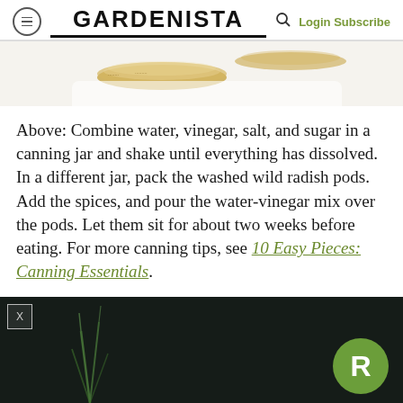GARDENISTA
[Figure (photo): Partial view of glass canning jars with gold lids on a light background]
Above: Combine water, vinegar, salt, and sugar in a canning jar and shake until everything has dissolved. In a different jar, pack the washed wild radish pods. Add the spices, and pour the water-vinegar mix over the pods. Let them sit for about two weeks before eating. For more canning tips, see 10 Easy Pieces: Canning Essentials.
[Figure (photo): Dark background photo with green plant stems/spikes visible, and a green circular badge with letter R in bottom right corner]